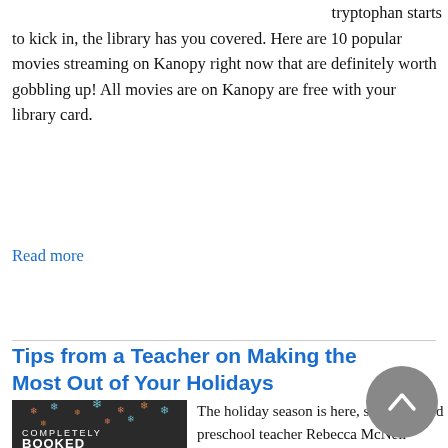tryptophan starts to kick in, the library has you covered. Here are 10 popular movies streaming on Kanopy right now that are definitely worth gobbling up! All movies are on Kanopy are free with your library card.
Read more
Tips from a Teacher on Making the Most Out of Your Holidays
[Figure (illustration): Dark book cover with colorful snowflakes and text reading COMPLETELY BOOKED]
The holiday season is here, so we invited preschool teacher Rebecca McNeil